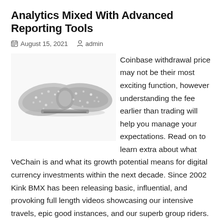Analytics Mixed With Advanced Reporting Tools
August 15, 2021   admin
[Figure (photo): Photo of a decorative rhinestone/crystal bow hair clip or brooch, silver-toned, photographed on white background.]
Coinbase withdrawal price may not be their most exciting function, however understanding the fee earlier than trading will help you manage your expectations. Read on to learn extra about what VeChain is and what its growth potential means for digital currency investments within the next decade. Since 2002 Kink BMX has been releasing basic, influential, and provoking full length videos showcasing our intensive travels, epic good instances, and our superb group riders.